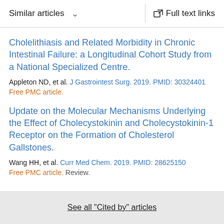Similar articles   ∨   Full text links
Cholelithiasis and Related Morbidity in Chronic Intestinal Failure: a Longitudinal Cohort Study from a National Specialized Centre.
Appleton ND, et al. J Gastrointest Surg. 2019. PMID: 30324401
Free PMC article.
Update on the Molecular Mechanisms Underlying the Effect of Cholecystokinin and Cholecystokinin-1 Receptor on the Formation of Cholesterol Gallstones.
Wang HH, et al. Curr Med Chem. 2019. PMID: 28625150
Free PMC article. Review.
See all "Cited by" articles